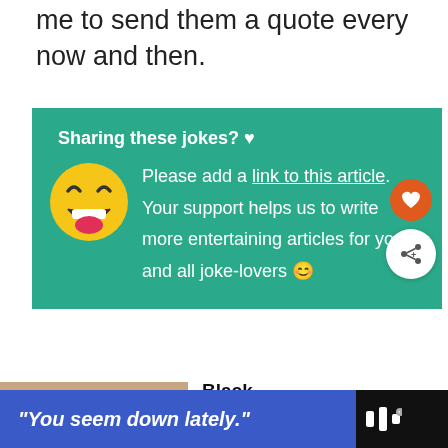me to send them a quote every now and then.
[Figure (infographic): Teal sharing box with laughing emoji, text asking to add a link to the article, heart and share buttons on right side]
[Figure (photo): Group photo of smiling Black family]
Black Families Matter
[Figure (screenshot): WHAT'S NEXT banner with Best Funny Quotes and... thumbnail]
[Figure (infographic): Ad bar at bottom: blue box with text 'You seem down lately.' and a logo on dark background]